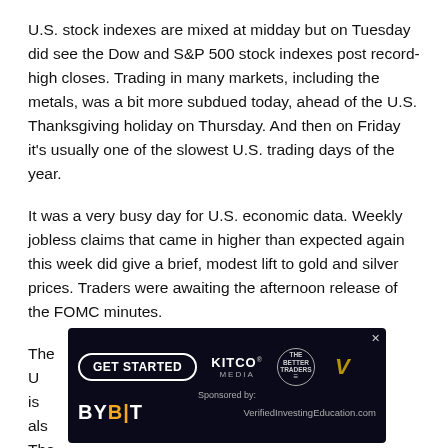U.S. stock indexes are mixed at midday but on Tuesday did see the Dow and S&P 500 stock indexes post record-high closes. Trading in many markets, including the metals, was a bit more subdued today, ahead of the U.S. Thanksgiving holiday on Thursday. And then on Friday it's usually one of the slowest U.S. trading days of the year.
It was a very busy day for U.S. economic data. Weekly jobless claims that came in higher than expected again this week did give a brief, modest lift to gold and silver prices. Traders were awaiting the afternoon release of the FOMC minutes.
The U[...overlay...] hich is als[...overlay...] y. The other[...overlay...] ex crude[...overlay...] th high and trading around $45.65 a barrel. The yield on the
[Figure (infographic): Advertisement overlay showing 'GET STARTED' button, Kitco Media logo, The Better Traders logo, V logo. Sponsored by BYBIT with VerifiedInvestingEducation.com text. Dark blue/black background with network graphic.]